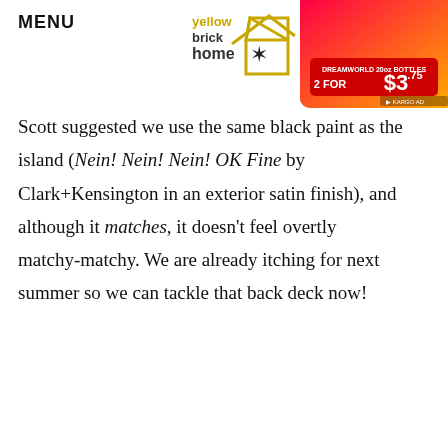MENU
[Figure (logo): Yellow Brick Home logo with house outline and star]
[Figure (photo): Coca-Cola Dreamworld advertisement showing 2 for $3.75 bottles deal]
Scott suggested we use the same black paint as the island (Nein! Nein! Nein! OK Fine by Clark+Kensington in an exterior satin finish), and although it matches, it doesn't feel overtly matchy-matchy. We are already itching for next summer so we can tackle that back deck now!